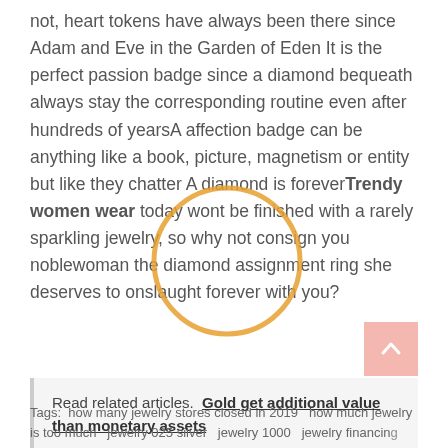not, heart tokens have always been there since Adam and Eve in the Garden of Eden It is the perfect passion badge since a diamond bequeath always stay the corresponding routine even after hundreds of yearsA affection badge can be anything like a book, picture, magnetism or entity but like they chatter A diamond is foreverTrendy women wear today wont be finished with a rarely sparkling jewelry, so why not consign you noblewoman the diamond assignment ring she deserves to onslaught forever with you?
[Figure (illustration): Orange circle outline overlaid on the paragraph text, centered around the word 'jewelry']
Read related articles.  Gold get additional value than monetary assets
Tags:  how many jewelry stores closed in 2019   how much jewelry is too much   jewelry 025 silver   jewelry 1000   jewelry financing